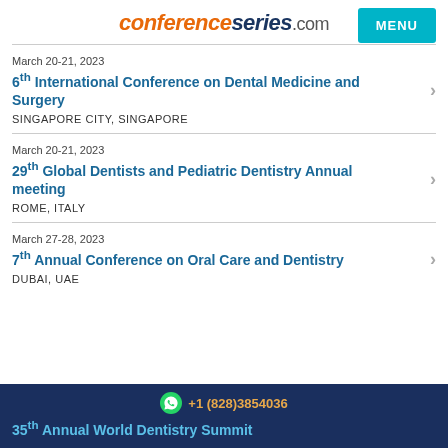conferenceseries.com
March 20-21, 2023
6th International Conference on Dental Medicine and Surgery
SINGAPORE CITY, SINGAPORE
March 20-21, 2023
29th Global Dentists and Pediatric Dentistry Annual meeting
ROME, ITALY
March 27-28, 2023
7th Annual Conference on Oral Care and Dentistry
DUBAI, UAE
+1 (828)3854036
35th Annual World Dentistry Summit